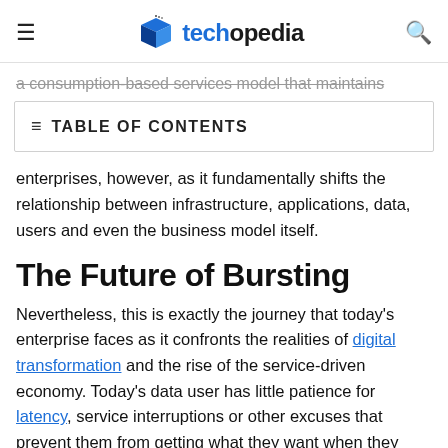techopedia
a consumption-based services model that maintains
TABLE OF CONTENTS
enterprises, however, as it fundamentally shifts the relationship between infrastructure, applications, data, users and even the business model itself.
The Future of Bursting
Nevertheless, this is exactly the journey that today's enterprise faces as it confronts the realities of digital transformation and the rise of the service-driven economy. Today's data user has little patience for latency, service interruptions or other excuses that prevent them from getting what they want when they want it, but traditional data